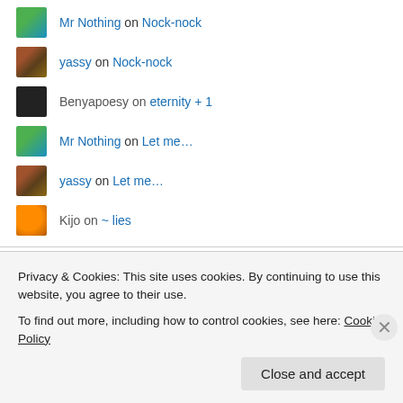Mr Nothing on Nock-nock
yassy on Nock-nock
Benyapoesy on eternity + 1
Mr Nothing on Let me…
yassy on Let me…
Kijo on ~ lies
Jewels to use
Hostgator
Netflorist
Forrector Ninja
Privacy & Cookies: This site uses cookies. By continuing to use this website, you agree to their use.
To find out more, including how to control cookies, see here: Cookie Policy
Close and accept